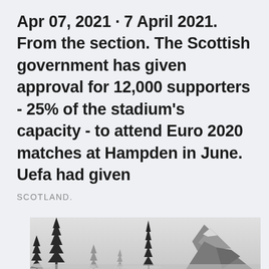Apr 07, 2021 · 7 April 2021. From the section. The Scottish government has given approval for 12,000 supporters - 25% of the stadium's capacity - to attend Euro 2020 matches at Hampden in June. Uefa had given
SCOTLAND.
[Figure (photo): Black and white / desaturated photograph of snow-covered evergreen trees in a misty winter landscape, with a rocky snow-capped mountain peak visible in the background on the right side.]